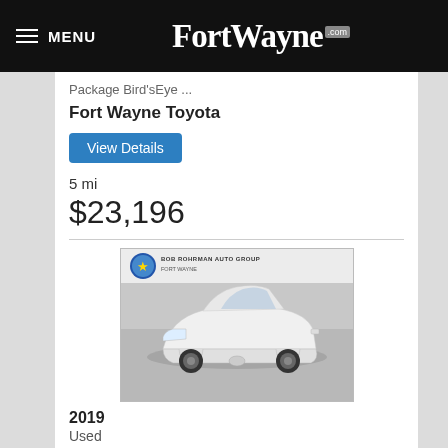MENU FortWayne.com
Package Bird'sEye ...
Fort Wayne Toyota
View Details
5 mi
$23,196
[Figure (photo): White Kia Optima sedan photographed at Bob Rohrman Auto Group Fort Wayne dealership, front three-quarter view against a grey background.]
2019
Used
📷 25
Kia Optima